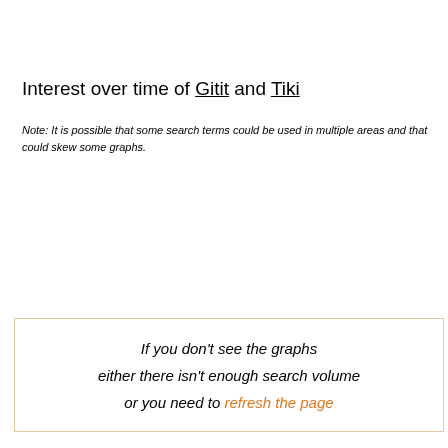Interest over time of Gitit and Tiki
Note: It is possible that some search terms could be used in multiple areas and that could skew some graphs.
If you don't see the graphs either there isn't enough search volume or you need to refresh the page